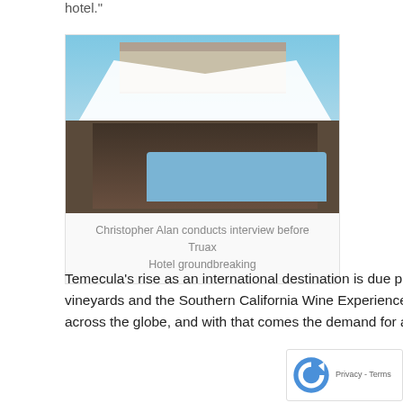hotel."
[Figure (photo): Outdoor event under a large white tent with scalloped edges in front of a multi-story building. Several people are standing and talking, with a blue race car visible in the foreground.]
Christopher Alan conducts interview before Truax Hotel groundbreaking
Temecula's rise as an international destination is due primarily to the expanded success and notoriety of its local vineyards and the Southern California Wine Experience. Fine wines from great vineyards bring wine connoisseurs from across the globe, and with that comes the demand for a world-class hotel. As